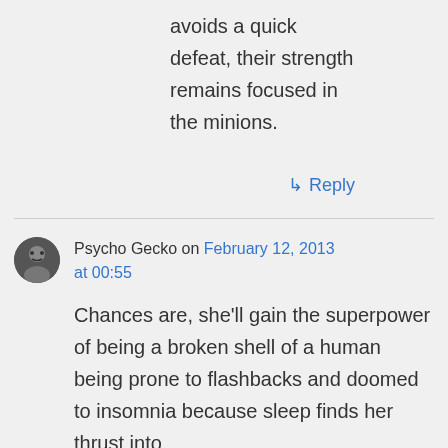avoids a quick defeat, their strength remains focused in the minions.
↳ Reply
Psycho Gecko on February 12, 2013 at 00:55
Chances are, she'll gain the superpower of being a broken shell of a human being prone to flashbacks and doomed to insomnia because sleep finds her thrust into